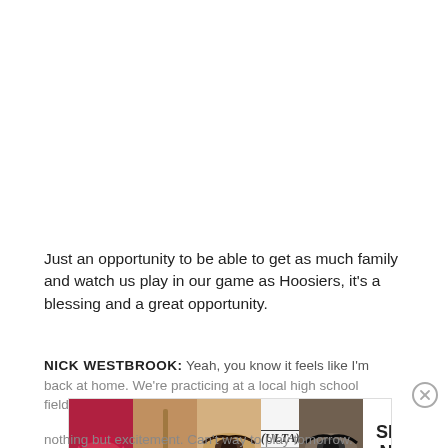Just an opportunity to be able to get as much family and watch us play in our game as Hoosiers, it's a blessing and a great opportunity.
NICK WESTBROOK: Yeah, you know it feels like I'm back at home. We're practicing at a local high school field, it's like practice at home again. We're here in F... nothing but excitement. Can't way to play tomorrow.
[Figure (other): Advertisement banner for ULTA Beauty with makeup imagery (lipstick, brush, eye makeup) and SHOP NOW call to action]